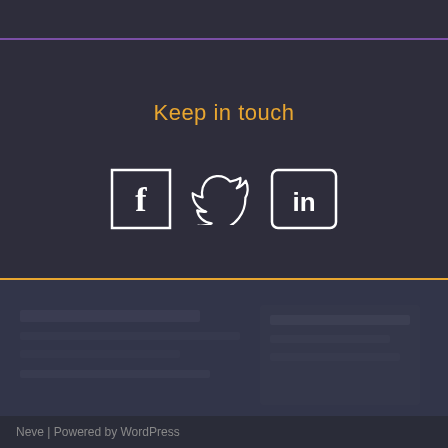Keep in touch
[Figure (illustration): Three social media icons: Facebook (f in a square), Twitter (bird logo), LinkedIn (in logo in a rounded square)]
[Figure (photo): Blurred dark background image showing what appears to be a keyboard or electronic equipment]
Neve | Powered by WordPress